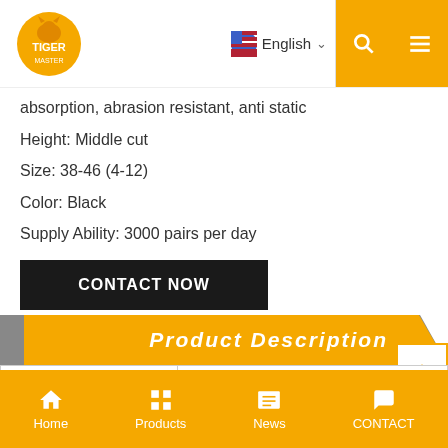Tiger Master | English
absorption, abrasion resistant, anti static
Height: Middle cut
Size: 38-46 (4-12)
Color: Black
Supply Ability: 3000 pairs per day
CONTACT NOW
Product Description
| Product Name: | Black leather pu injection steel toe industrial sa... |
| --- | --- |
| Item No: | SD8000 |
Home | Products | News | CONTACT